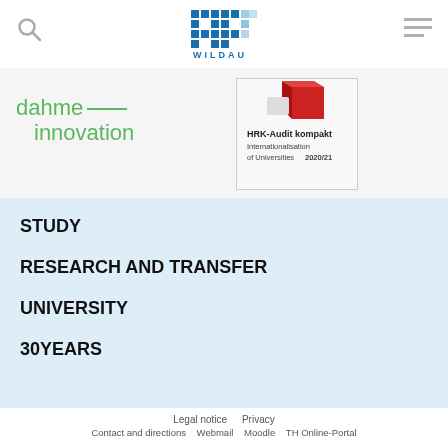TH Wildau — search, logo, hamburger menu
[Figure (logo): dahme innovation logo with green text and line]
[Figure (logo): HRK-Audit kompakt Internationalisation of Universities 2020/21 badge with red cube]
STUDY
RESEARCH AND TRANSFER
UNIVERSITY
30YEARS
Legal notice   Privacy   Contact and directions   Webmail   Moodle   TH Online-Portal